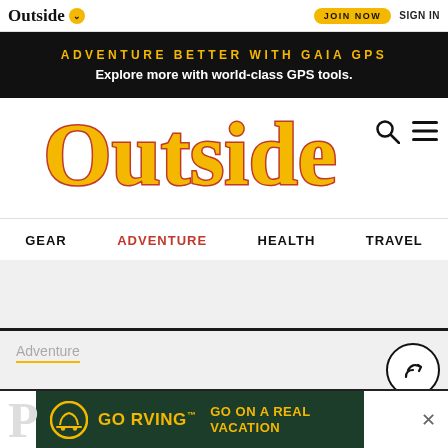Outside | JOIN NOW | SIGN IN
[Figure (screenshot): Black banner with yellow text 'ADVENTURE BETTER WITH GAIA GPS' and white subtext 'Explore more with world-class GPS tools.']
[Figure (logo): Outside magazine logo in yellow/orange with red shadow, large serif font]
GEAR  ADVENTURE  HEALTH  TRAVEL
Adventure
[Figure (screenshot): GO RVING advertisement with dark green background, yellow GO RVING logo with RV icon, and tagline GO ON A REAL VACATION]